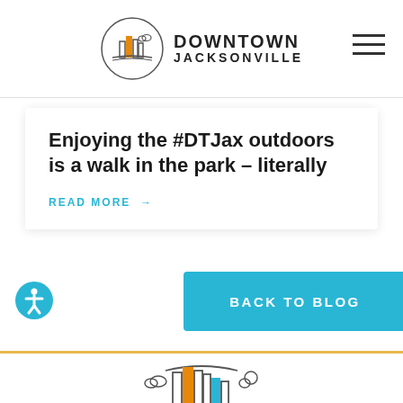DOWNTOWN JACKSONVILLE
Enjoying the #DTJax outdoors is a walk in the park – literally
READ MORE →
BACK TO BLOG
[Figure (logo): Downtown Jacksonville cityscape logo icon at bottom of page]